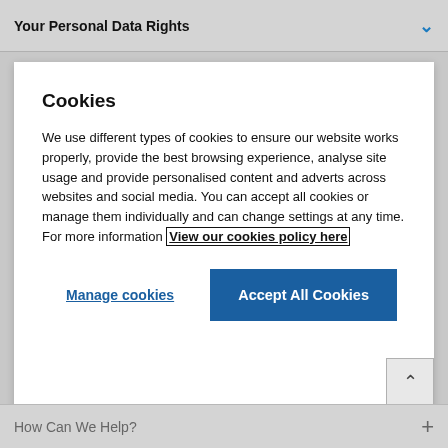Your Personal Data Rights
Cookies
We use different types of cookies to ensure our website works properly, provide the best browsing experience, analyse site usage and provide personalised content and adverts across websites and social media. You can accept all cookies or manage them individually and can change settings at any time. For more information View our cookies policy here
Manage cookies
Accept All Cookies
How Can We Help?